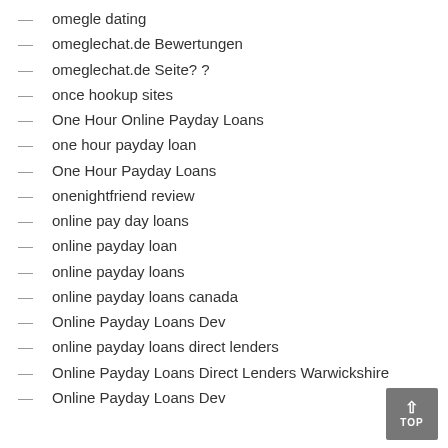omegle dating
omeglechat.de Bewertungen
omeglechat.de Seite? ?
once hookup sites
One Hour Online Payday Loans
one hour payday loan
One Hour Payday Loans
onenightfriend review
online pay day loans
online payday loan
online payday loans
online payday loans canada
Online Payday Loans Dev
online payday loans direct lenders
Online Payday Loans Direct Lenders Warwickshire
Online Payday Loans Dev